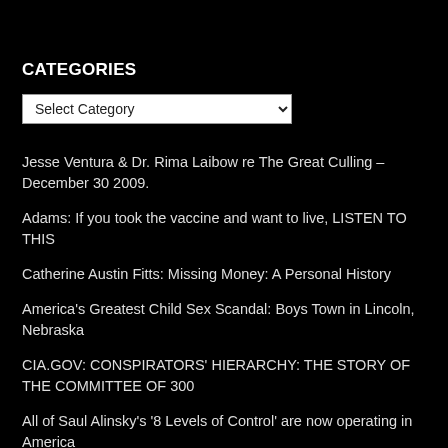CATEGORIES
Select Category
Jesse Ventura & Dr. Rima Laibow re The Great Culling – December 30 2009.
Adams: If you took the vaccine and want to live, LISTEN TO THIS
Catherine Austin Fitts: Missing Money: A Personal History
America's Greatest Child Sex Scandal: Boys Town in Lincoln, Nebraska
CIA.GOV: CONSPIRATORS' HIERARCHY: THE STORY OF THE COMMITTEE OF 300
All of Saul Alinsky's '8 Levels of Control' are now operating in America